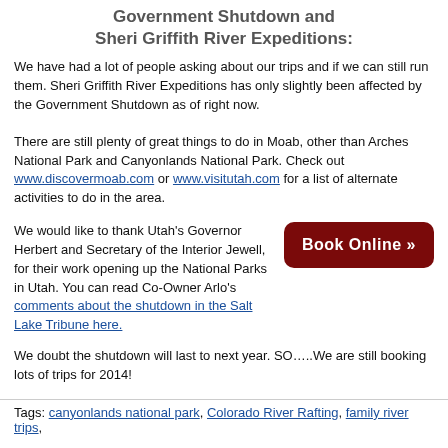Government Shutdown and Sheri Griffith River Expeditions:
We have had a lot of people asking about our trips and if we can still run them.   Sheri Griffith River Expeditions has only slightly been affected by the Government Shutdown as of right now.
There are still plenty of great things to do in Moab, other than Arches National Park and Canyonlands National Park. Check out www.discovermoab.com or www.visitutah.com for a list of alternate activities to do in the area.
We would like to thank Utah's Governor Herbert and Secretary of the Interior Jewell, for their work opening up the National Parks in Utah. You can read Co-Owner Arlo's comments about the shutdown in the Salt Lake Tribune here.
[Figure (other): Dark red rounded button with white bold text reading 'Book Online »']
We doubt the shutdown will last to next year. SO…..We are still booking lots of trips for 2014!
Tags: canyonlands national park, Colorado River Rafting, family river trips,